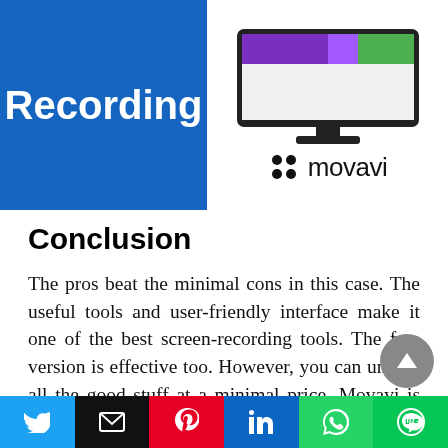[Figure (illustration): Blue box with 'Recording' text on the left, and a monitor/screen illustration with Movavi logo on the right]
Conclusion
The pros beat the minimal cons in this case. The useful tools and user-friendly interface make it one of the best screen-recording tools. The free version is effective too. However, you can unlock all the good stuff at a minimal price. Movavi is undoubtedly the most affordable software out there. The abundantly supported formats and instant sharing come in handy. For more effects,
Social share buttons: Twitter, Email, Pinterest, LinkedIn, WhatsApp, Line